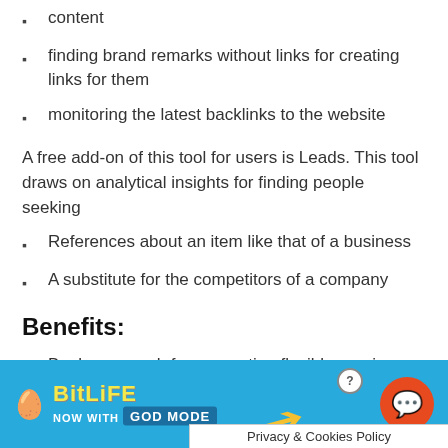content
finding brand remarks without links for creating links for them
monitoring the latest backlinks to the website
A free add-on of this tool for users is Leads. This tool draws on analytical insights for finding people seeking
References about an item like that of a business
A substitute for the competitors of a company
Benefits:
Boolean search for generating flexible queries and making the results more accurate
[Figure (other): BitLife advertisement banner with 'NOW WITH GODMODE' text, arrow graphic, question mark circle, and orange chat button]
Privacy & Cookies Policy